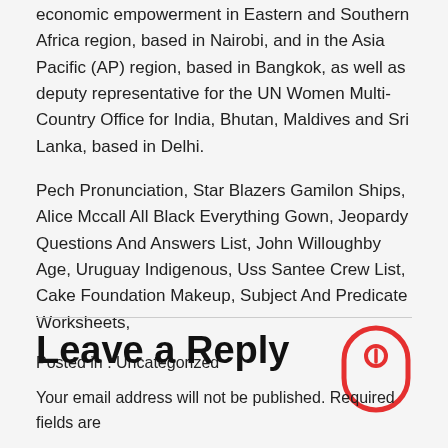economic empowerment in Eastern and Southern Africa region, based in Nairobi, and in the Asia Pacific (AP) region, based in Bangkok, as well as deputy representative for the UN Women Multi-Country Office for India, Bhutan, Maldives and Sri Lanka, based in Delhi.
Pech Pronunciation, Star Blazers Gamilon Ships, Alice Mccall All Black Everything Gown, Jeopardy Questions And Answers List, John Willoughby Age, Uruguay Indigenous, Uss Santee Crew List, Cake Foundation Makeup, Subject And Predicate Worksheets,
Posted in : Uncategorized
[Figure (illustration): Red mouse/scroll icon outline illustration]
Leave a Reply
Your email address will not be published. Required fields are